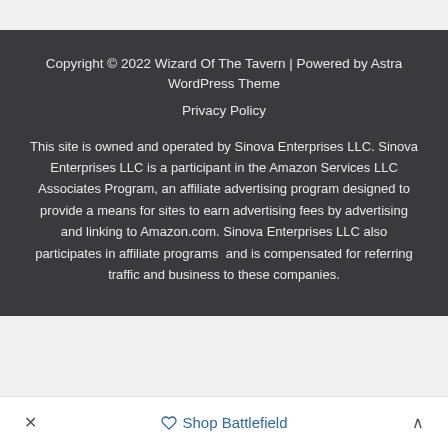Copyright © 2022 Wizard Of The Tavern | Powered by Astra WordPress Theme
Privacy Policy
This site is owned and operated by Sinova Enterprises LLC. Sinova Enterprises LLC is a participant in the Amazon Services LLC Associates Program, an affiliate advertising program designed to provide a means for sites to earn advertising fees by advertising and linking to Amazon.com. Sinova Enterprises LLC also participates in affiliate programs  and is compensated for referring traffic and business to these companies.
× ♡ Shop Battlefield ^